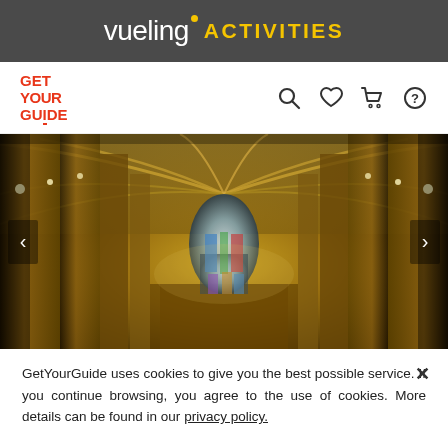vueling ACTIVITIES
[Figure (logo): GetYourGuide logo in red with navigation icons (search, heart, cart, help)]
[Figure (photo): Interior of a Gothic cathedral with golden vaulted ceilings, tall columns, and stained glass windows at the far end. Carousel navigation arrows on left and right.]
GetYourGuide uses cookies to give you the best possible service. If you continue browsing, you agree to the use of cookies. More details can be found in our privacy policy.